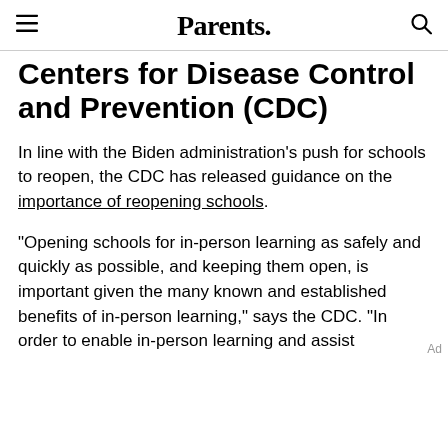Parents.
Centers for Disease Control and Prevention (CDC)
In line with the Biden administration's push for schools to reopen, the CDC has released guidance on the importance of reopening schools.
"Opening schools for in-person learning as safely and quickly as possible, and keeping them open, is important given the many known and established benefits of in-person learning," says the CDC. "In order to enable in-person learning and assist